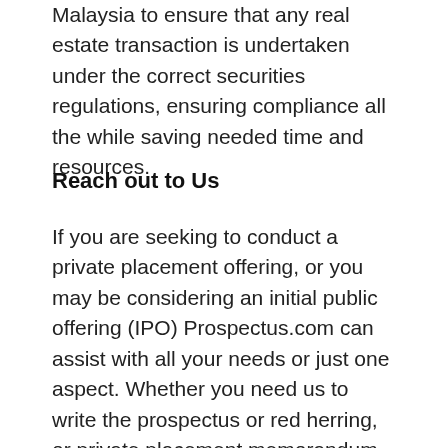Malaysia to ensure that any real estate transaction is undertaken under the correct securities regulations, ensuring compliance all the while saving needed time and resources.
Reach out to Us
If you are seeking to conduct a private placement offering, or you may be considering an initial public offering (IPO) Prospectus.com can assist with all your needs or just one aspect. Whether you need us to write the prospectus or red herring, or private placement memorandum or business plan, or the feasibility study for a real estate transaction, our securities attorneys and staff can assist in both a timely fashion and money-saving method. Hundreds of companies, law firms and brokers worldwide